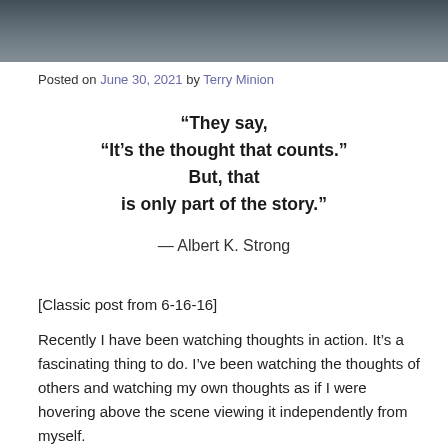[Figure (photo): Photograph strip of smoke against a dark background, cropped at top of page]
Posted on June 30, 2021 by Terry Minion
“They say,
“It’s the thought that counts.”
But, that
is only part of the story.”
— Albert K. Strong
[Classic post from 6-16-16]
Recently I have been watching thoughts in action. It’s a fascinating thing to do. I’ve been watching the thoughts of others and watching my own thoughts as if I were hovering above the scene viewing it independently from myself.